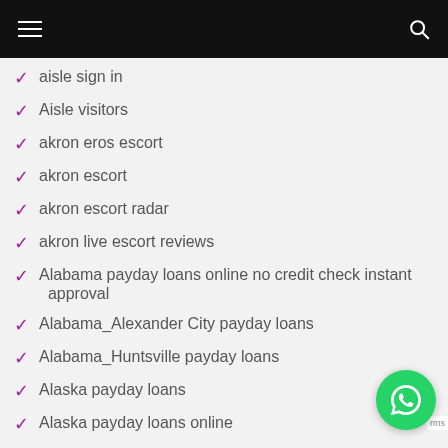aisle sign in
Aisle visitors
akron eros escort
akron escort
akron escort radar
akron live escort reviews
Alabama payday loans online no credit check instant approval
Alabama_Alexander City payday loans
Alabama_Huntsville payday loans
Alaska payday loans
Alaska payday loans online
Alaska payday loans online same day deposit
alaska review